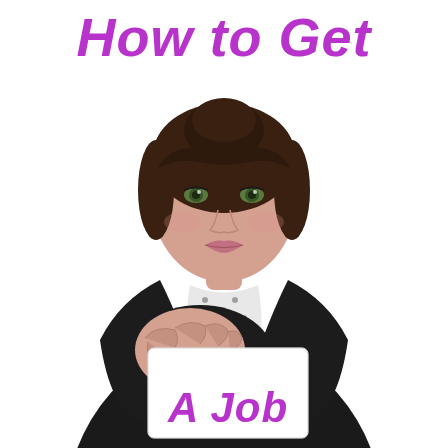How to Get
[Figure (photo): A professional woman in a black blazer and white polka-dot blouse with dark hair, reaching forward and holding a white card toward the viewer. The card displays the text 'A Job' in purple italic bold font. Background is white.]
A Job